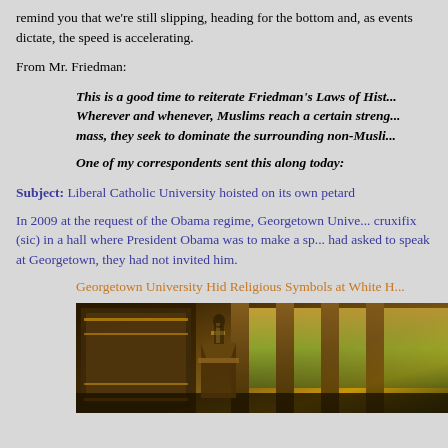remind you that we're still slipping, heading for the bottom and, as events dictate, the speed is accelerating.
From Mr. Friedman:
This is a good time to reiterate Friedman's Laws of Hist... Wherever and whenever, Muslims reach a certain streng... mass, they seek to dominate the surrounding non-Musli...
One of my correspondents sent this along today:
Subject: Liberal Catholic University hoisted on its own petard
In 2009 at the request of the Obama regime, Georgetown Unive... cruxifix (sic) in a hall where President Obama was to make a sp... had asked to speak at Georgetown, they had not invited him.
Georgetown University Hid Religious Symbols at White ...
[Figure (photo): Interior of a church or chapel showing ornate architecture with golden/yellow accents, columns, and stained glass windows in the background]